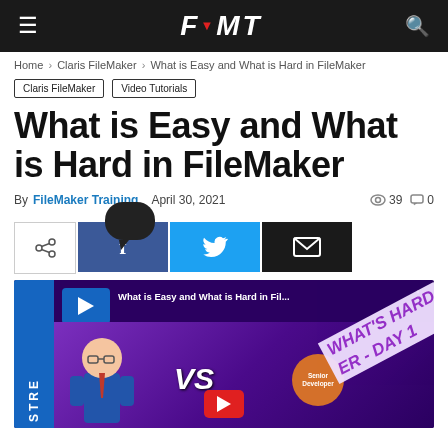FMT
Home > Claris FileMaker > What is Easy and What is Hard in FileMaker
Claris FileMaker  Video Tutorials
What is Easy and What is Hard in FileMaker
By FileMaker Training  April 30, 2021  39  0
[Figure (screenshot): Social share buttons: share, Facebook, Twitter, Email with speech bubble overlay]
[Figure (screenshot): YouTube video thumbnail for 'What is Easy and What is Hard in FileMaker' showing VS graphic with developer characters and WHAT'S HARD text]